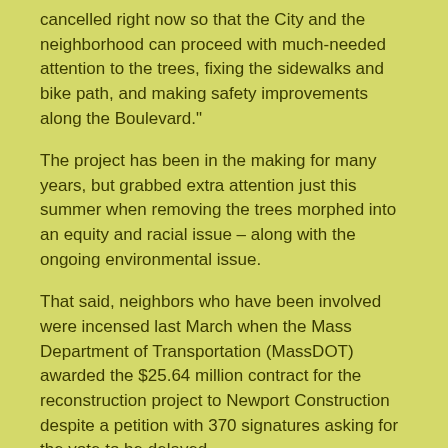cancelled right now so that the City and the neighborhood can proceed with much-needed attention to the trees, fixing the sidewalks and bike path, and making safety improvements along the Boulevard."
The project has been in the making for many years, but grabbed extra attention just this summer when removing the trees morphed into an equity and racial issue – along with the ongoing environmental issue.
That said, neighbors who have been involved were incensed last March when the Mass Department of Transportation (MassDOT) awarded the $25.64 million contract for the reconstruction project to Newport Construction despite a petition with 370 signatures asking for the vote to be delayed.
The full cost of the project is $30.67 million, and that is $11 million over estimates.
A driving force within the project was pedestrian safety and better bicycle connectivity. The project features separated bike tracks on